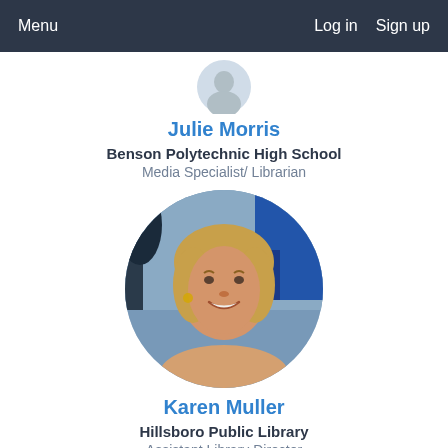Menu    Log in  Sign up
Julie Morris
Benson Polytechnic High School
Media Specialist/ Librarian
[Figure (photo): Circular profile photo of Karen Muller, a woman with blonde hair, smiling, with a painted background of trees and city skyline.]
Karen Muller
Hillsboro Public Library
Assistant Library Director